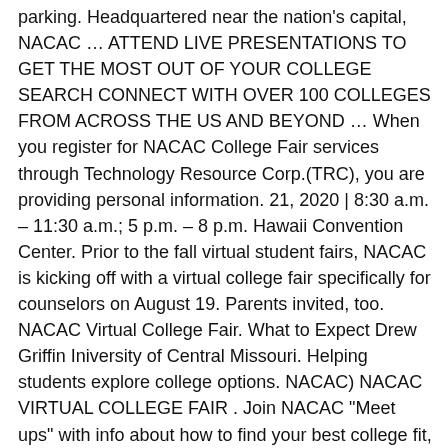parking. Headquartered near the nation's capital, NACAC … ATTEND LIVE PRESENTATIONS TO GET THE MOST OUT OF YOUR COLLEGE SEARCH CONNECT WITH OVER 100 COLLEGES FROM ACROSS THE US AND BEYOND … When you register for NACAC College Fair services through Technology Resource Corp.(TRC), you are providing personal information. 21, 2020 | 8:30 a.m. – 11:30 a.m.; 5 p.m. – 8 p.m. Hawaii Convention Center. Prior to the fall virtual student fairs, NACAC is kicking off with a virtual college fair specifically for counselors on August 19. Parents invited, too. NACAC Virtual College Fair. What to Expect Drew Griffin Iniversity of Central Missouri. Helping students explore college options. NACAC) NACAC VIRTUAL COLLEGE FAIR . Join NACAC "Meet ups" with info about how to find your best college fit, how to pay for college and more. This event will host more than 600 colleges and universities. National College Fairs allow students to interact with admission representatives from a wide range of postsecondary institutions. Sunday, September 13 from 12 to 8 p.m.